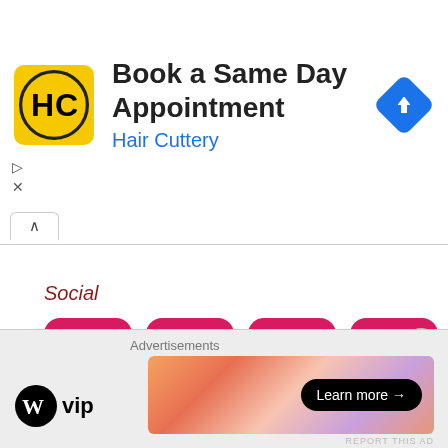[Figure (infographic): Ad banner: Hair Cuttery logo (HC in yellow circle), text 'Book a Same Day Appointment / Hair Cuttery', and a blue diamond navigation icon]
Book a Same Day Appointment
Hair Cuttery
Social
[Figure (infographic): Row of 7 social media icons on crimson/pink rounded-square backgrounds: Facebook, Twitter, Instagram, Pinterest, LinkedIn, YouTube, WordPress]
Advertisements
[Figure (logo): WordPress VIP logo — WordPress W circle icon + text 'vip']
[Figure (infographic): Banner ad with gradient background (orange/peach/purple) and 'Learn more →' button on black rounded rectangle]